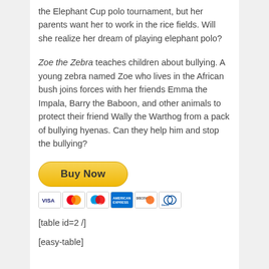the Elephant Cup polo tournament, but her parents want her to work in the rice fields. Will she realize her dream of playing elephant polo?
Zoe the Zebra teaches children about bullying. A young zebra named Zoe who lives in the African bush joins forces with her friends Emma the Impala, Barry the Baboon, and other animals to protect their friend Wally the Warthog from a pack of bullying hyenas. Can they help him and stop the bullying?
[Figure (other): PayPal Buy Now button with payment card icons (VISA, Mastercard, Maestro, American Express, Discover, Diners Club)]
[table id=2 /]
[easy-table]